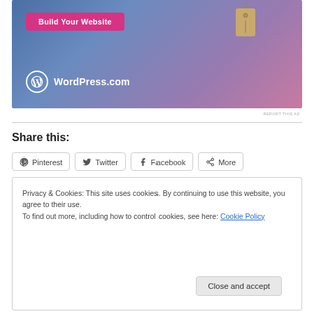[Figure (screenshot): WordPress.com advertisement banner with blue-purple gradient background, a pink 'Build Your Website' button, a hanging price tag graphic, and the WordPress.com logo at the bottom.]
REPORT THIS AD
Share this:
Pinterest
Twitter
Facebook
More
Privacy & Cookies: This site uses cookies. By continuing to use this website, you agree to their use.
To find out more, including how to control cookies, see here: Cookie Policy
Close and accept